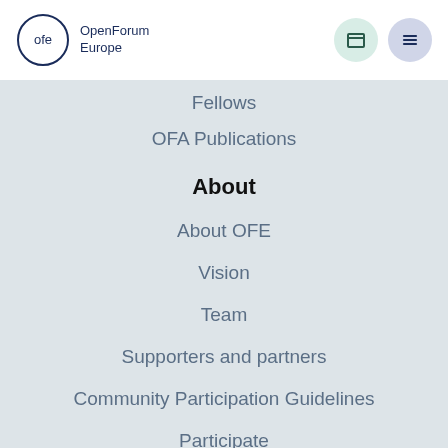[Figure (logo): OpenForum Europe logo with 'ofe' in a circle and text 'OpenForum Europe']
Fellows
OFA Publications
About
About OFE
Vision
Team
Supporters and partners
Community Participation Guidelines
Participate